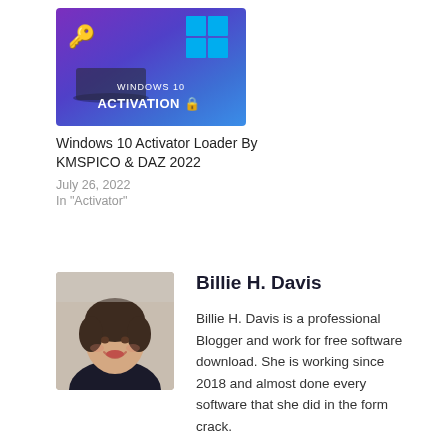[Figure (screenshot): Windows 10 Activation promotional image with purple/blue gradient background, Windows logo, key icon, and text 'WINDOWS 10 ACTIVATION']
Windows 10 Activator Loader By KMSPICO & DAZ 2022
July 26, 2022
In "Activator"
[Figure (photo): Headshot photo of Billie H. Davis, a woman with short brown hair, smiling, wearing a dark top]
Billie H. Davis
Billie H. Davis is a professional Blogger and work for free software download. She is working since 2018 and almost done every software that she did in the form crack.